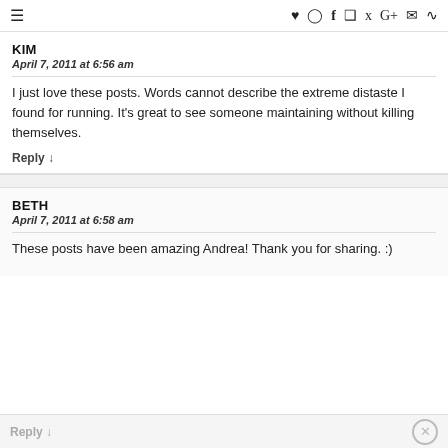≡  ♥ Instagram f Pinterest Twitter G+ Mail RSS
KIM
April 7, 2011 at 6:56 am
I just love these posts. Words cannot describe the extreme distaste I found for running. It's great to see someone maintaining without killing themselves.
Reply ↓
BETH
April 7, 2011 at 6:58 am
These posts have been amazing Andrea! Thank you for sharing. :)
Reply ↓